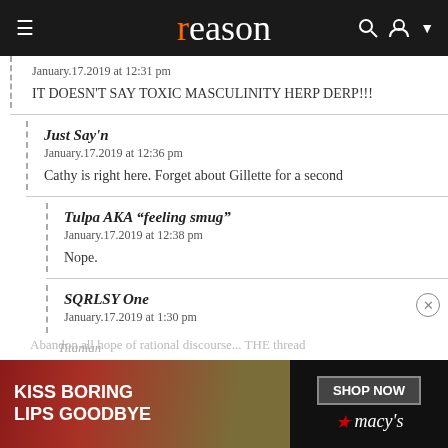reason
January.17.2019 at 12:31 pm
IT DOESN'T SAY TOXIC MASCULINITY HERP DERP!!!
Just Say'n
January.17.2019 at 12:36 pm
Cathy is right here. Forget about Gillette for a second
Tulpa AKA “feeling smug”
January.17.2019 at 12:38 pm
Nope.
SQRLSY One
January.17.2019 at 1:30 pm
Abandon all hope of rational discourse... THE thread
Titanian
[Figure (screenshot): Macy's advertisement banner: KISS BORING LIPS GOODBYE with SHOP NOW button and Macy's logo]